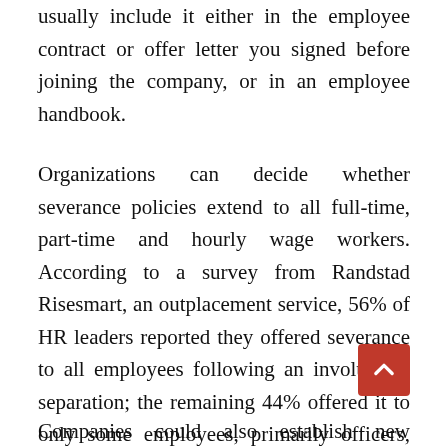usually include it either in the employee contract or offer letter you signed before joining the company, or in an employee handbook.
Organizations can decide whether severance policies extend to all full-time, part-time and hourly wage workers. According to a survey from Randstad Risesmart, an outplacement service, 56% of HR leaders reported they offered severance to all employees following an involuntary separation; the remaining 44% offered it to only some employees, primarily officers, senior executives and managers with the company. Unionized workers may be entitled to severance based on the terms of their collective bargaining agreement.
Companies could also establish new severance